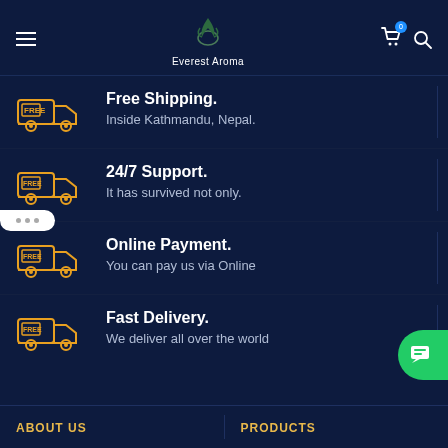Everest Aroma
Free Shipping.
Inside Kathmandu, Nepal.
24/7 Support.
It has survived not only.
Online Payment.
You can pay us via Online
Fast Delivery.
We deliver all over the world
ABOUT US   PRODUCTS